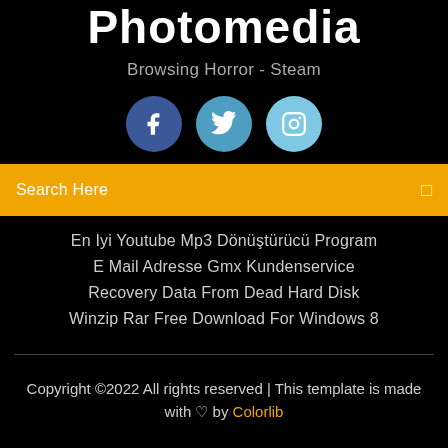Photomedia
Browsing Horror - Steam
[Figure (infographic): Three social media icons: Facebook (dark blue circle with f), Twitter (medium blue circle with bird), Instagram (light blue circle with camera icon)]
Search Here
En Iyi Youtube Mp3 Dönüştürücü Program
E Mail Adresse Gmx Kundenservice
Recovery Data From Dead Hard Disk
Winzip Rar Free Download For Windows 8
Copyright ©2022 All rights reserved | This template is made with ♡ by Colorlib